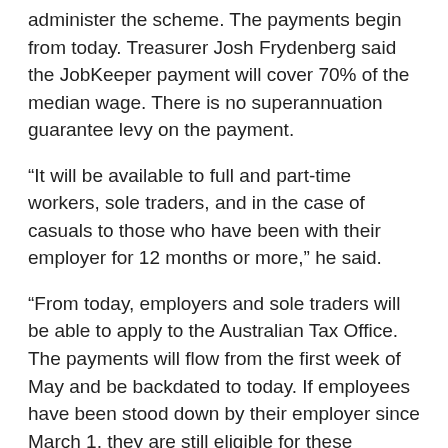administer the scheme. The payments begin from today. Treasurer Josh Frydenberg said the JobKeeper payment will cover 70% of the median wage. There is no superannuation guarantee levy on the payment.
“It will be available to full and part-time workers, sole traders, and in the case of casuals to those who have been with their employer for 12 months or more,” he said.
“From today, employers and sole traders will be able to apply to the Australian Tax Office. The payments will flow from the first week of May and be backdated to today. If employees have been stood down by their employer since March 1, they are still eligible for these payments.”
The Treasurer said the wage subsidy scheme was more generous than New Zealand’s scheme and broader than the United Kingdom’s scheme.